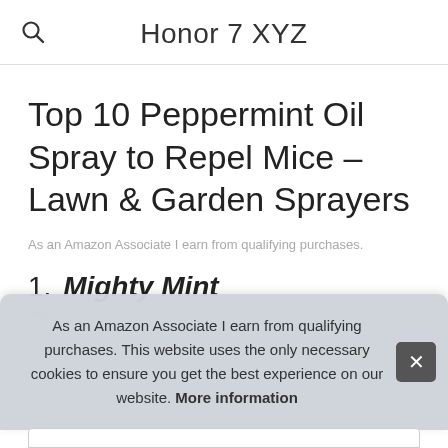Honor 7 XYZ
Top 10 Peppermint Oil Spray to Repel Mice – Lawn & Garden Sprayers
As an Amazon Associate I earn from qualifying purchases.
1. Mighty Mint
As an Amazon Associate I earn from qualifying purchases. This website uses the only necessary cookies to ensure you get the best experience on our website. More information